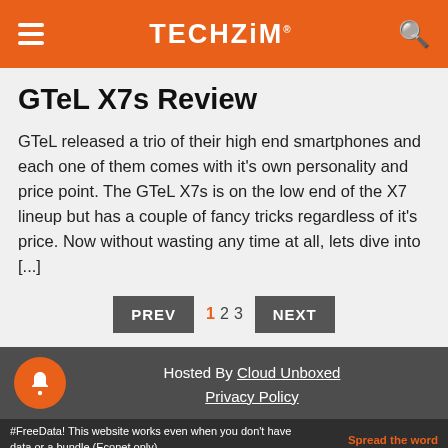TECHZiM
GTeL X7s Review
GTeL released a trio of their high end smartphones and each one of them comes with it's own personality and price point. The GTeL X7s is on the low end of the X7 lineup but has a couple of fancy tricks regardless of it's price. Now without wasting any time at all, lets dive into [...]
Hosted By Cloud Unboxed
Privacy Policy
#FreeData! This website works even when you don't have data or a bundle (Econet only).
Spread the word